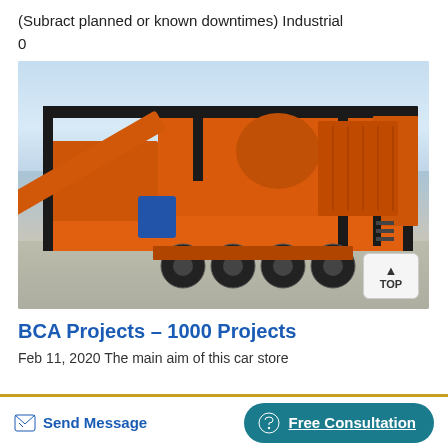(Subract planned or known downtimes) Industrial
0
[Figure (photo): Orange heavy industrial mobile crusher/processing machine mounted on a multi-axle trailer, with black steel frame, conveyor belt on left side, blue component visible, parked on concrete ground with cloudy sky background.]
BCA Projects – 1000 Projects
Feb 11, 2020 The main aim of this car store
Send Message
Free Consultation